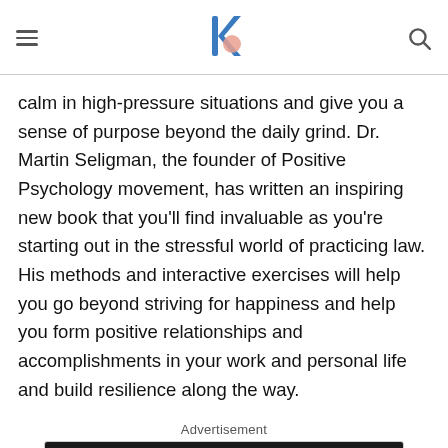Navigation header with hamburger menu, logo, and search icon
calm in high-pressure situations and give you a sense of purpose beyond the daily grind. Dr. Martin Seligman, the founder of Positive Psychology movement, has written an inspiring new book that you’ll find invaluable as you’re starting out in the stressful world of practicing law. His methods and interactive exercises will help you go beyond striving for happiness and help you form positive relationships and accomplishments in your work and personal life and build resilience along the way.
Advertisement
[Figure (other): Dotdash Meredith advertisement banner: 'We help people find answers, solve problems and get inspired.' with Dotdash Meredith logo]